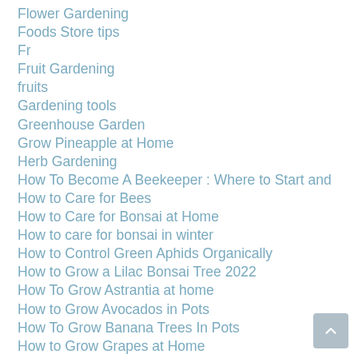Flower Gardening
Foods Store tips
Fr
Fruit Gardening
fruits
Gardening tools
Greenhouse Garden
Grow Pineapple at Home
Herb Gardening
How To Become A Beekeeper : Where to Start and How to Care for Bees
How to Care for Bonsai at Home
How to care for bonsai in winter
How to Control Green Aphids Organically
How to Grow a Lilac Bonsai Tree 2022
How To Grow Astrantia at home
How to Grow Avocados in Pots
How To Grow Banana Trees In Pots
How to Grow Grapes at Home
How to Grow Mushrooms at Home
how to grow pinto beans
How to grow Pumpkin
How to Plant Watermelon At Home In a Container
Indoor gardening